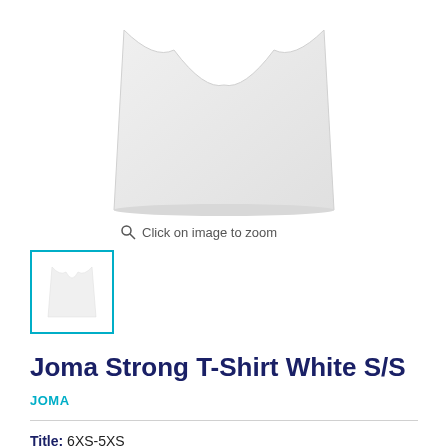[Figure (photo): White Joma t-shirt product photo, cropped to show bottom portion of shirt on white background]
Click on image to zoom
[Figure (photo): Small thumbnail of white Joma t-shirt with teal/cyan border indicating selected state]
Joma Strong T-Shirt White S/S
JOMA
Title: 6XS-5XS
6XS-5XS
2XS
XL
4XS-3XS
M